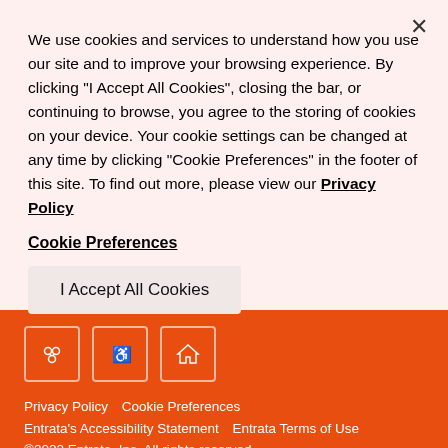We use cookies and services to understand how you use our site and to improve your browsing experience. By clicking "I Accept All Cookies", closing the bar, or continuing to browse, you agree to the storing of cookies on your device. Your cookie settings can be changed at any time by clicking "Cookie Preferences" in the footer of this site. To find out more, please view our Privacy Policy
Cookie Preferences
I Accept All Cookies
Privacy Policy   Cookie Preferences
Entrata's Accessibility Statement   Entrata Terms of Use
©2022 Entrata, Inc. All rights reserved.